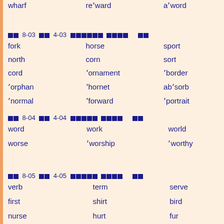wharf   re'ward   a'word
■■ 8-03 ■■ 4-03 ■■■■■■■■■ ■■■■■   ■■
fork   horse   sport   s-
north   corn   sort   fo-
cord   'ornament   'border   'c-
'orphan   'hornet   ab'sorb   in-
'normal   'forward   'portrait   re-
■■ 8-04 ■■ 4-04 ■■■■■■■■■ ■■■■■   ■■
word   work   world
worse   'worship   'worthy
■■ 8-05 ■■ 4-05 ■■■■■■■■■ ■■■■■   ■■
verb   term   serve
first   shirt   bird
nurse   hurt   fur